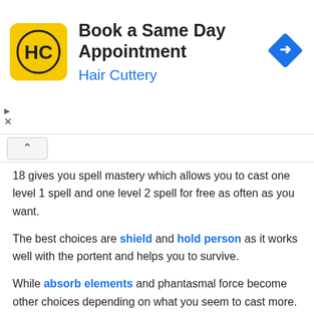[Figure (infographic): Hair Cuttery advertisement banner with logo, text 'Book a Same Day Appointment / Hair Cuttery', and a blue diamond arrow icon. Play and close ad controls visible at lower left.]
18 gives you spell mastery which allows you to cast one level 1 spell and one level 2 spell for free as often as you want.
The best choices are shield and hold person as it works well with the portent and helps you to survive.
While absorb elements and phantasmal force become other choices depending on what you seem to cast more.
Level 19
At this level, you get your final improvement, and really the choice is yours.
You can choose from a variety of improvements depending on...